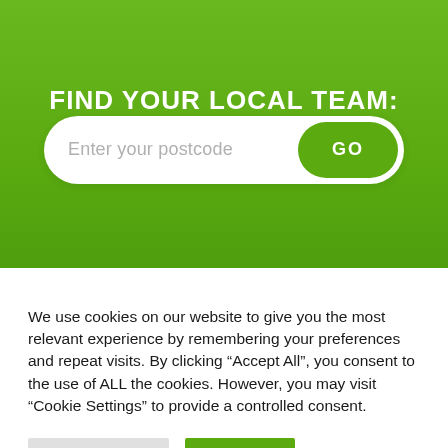FIND YOUR LOCAL TEAM:
[Figure (screenshot): Postcode search bar with placeholder text 'Enter your postcode' and a green GO button on the right]
We use cookies on our website to give you the most relevant experience by remembering your preferences and repeat visits. By clicking “Accept All”, you consent to the use of ALL the cookies. However, you may visit “Cookie Settings” to provide a controlled consent.
Cookie Settings
Accept All